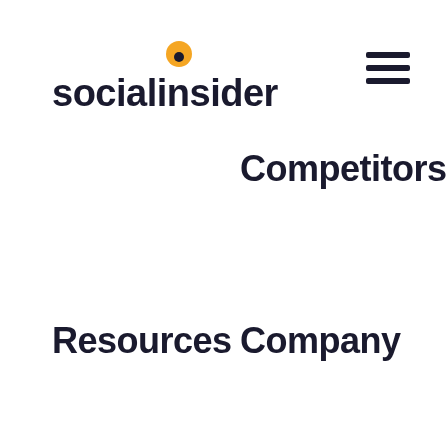[Figure (logo): Socialinsider logo with orange circle above the letter i]
[Figure (other): Hamburger menu icon (three horizontal lines) in top right corner]
Competitors
Resources
Company